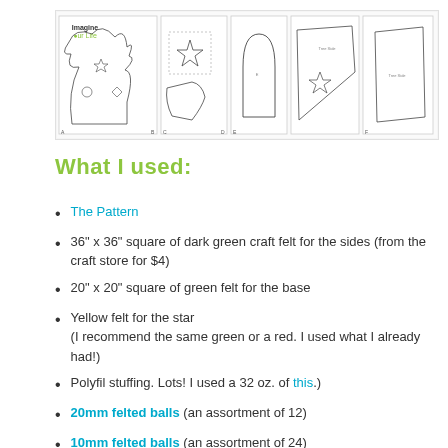[Figure (illustration): A strip of sewing/craft pattern pieces for a Play Christmas Tree, showing multiple pattern sheet thumbnails with outlines of tree shapes, star, and base pieces, labeled with 'Imagine Our Life' logo.]
What I used:
The Pattern
36” x 36” square of dark green craft felt for the sides (from the craft store for $4)
20” x 20” square of green felt for the base
Yellow felt for the star (I recommend the same green or a red. I used what I already had!)
Polyfil stuffing. Lots! I used a 32 oz. of this.)
20mm felted balls (an assortment of 12)
10mm felted balls (an assortment of 24)
1” of green hook & loop